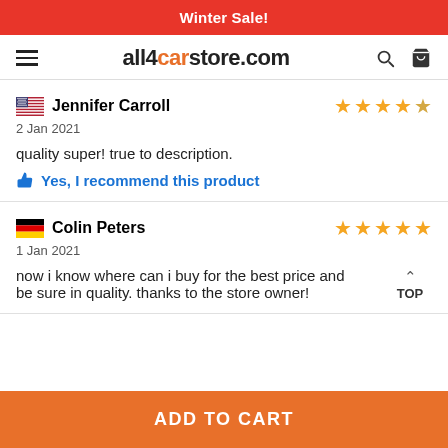Winter Sale!
all4carstore.com
Jennifer Carroll — 4 stars — 2 Jan 2021 — quality super! true to description. — Yes, I recommend this product
Colin Peters — 5 stars — 1 Jan 2021 — now i know where can i buy for the best price and be sure in quality. thanks to the store owner!
ADD TO CART